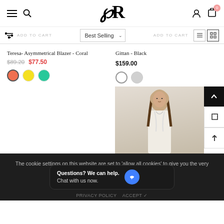Navigation header with hamburger menu, search, PR logo, user icon, cart (0)
ADD TO CART   Best Selling ∨   ADD TO CART
Teresa- Asymmetrical Blazer - Coral
$89.20  $77.50
Gittan - Black
$159.00
[Figure (photo): Fashion model wearing a light-colored blazer/jacket]
The cookie settings on this website are set to 'allow all cookies' to give you the very best experience. Continue to use the site.
Questions? We can help.
Chat with us now.
PRIVACY POLICY   ACCEPT ✓